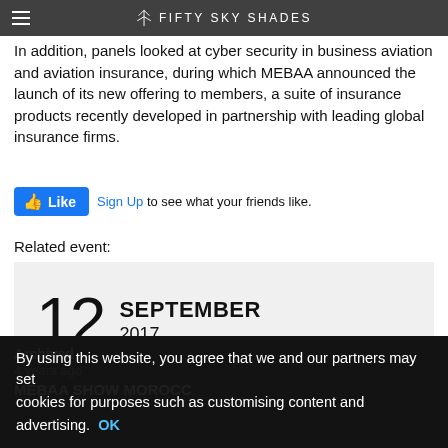FIFTY SKY SHADES
In addition, panels looked at cyber security in business aviation and aviation insurance, during which MEBAA announced the launch of its new offering to members, a suite of insurance products recently developed in partnership with leading global insurance firms.
[Figure (other): Facebook Like button with Sign Up link and text 'to see what your friends like.']
Related event:
[Figure (other): Event date card showing 12 SEPTEMBER 2017 on a grey background]
Morocco, Marrakesh, Marrakesh Menara Airport.
Archived
4 years ago
MEBAA SHOW MOROCC...
By using this website, you agree that we and our partners may set cookies for purposes such as customising content and advertising. OK